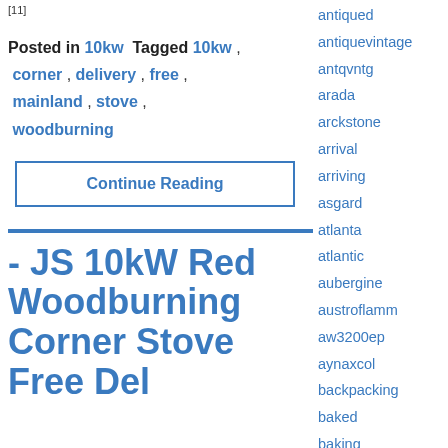[11]
Posted in 10kw Tagged 10kw , corner , delivery , free , mainland , stove , woodburning
Continue Reading
- JS 10kW Red Woodburning Corner Stove Free Delivery to UK
antiqued
antiquevintage
antqvntg
arada
arckstone
arrival
arriving
asgard
atlanta
atlantic
aubergine
austroflamm
aw3200ep
aynaxcol
backpacking
baked
baking
bar-b-que
barbas
barbecue